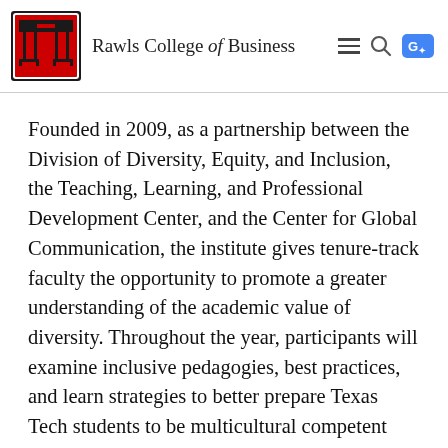Rawls College of Business
Founded in 2009, as a partnership between the Division of Diversity, Equity, and Inclusion, the Teaching, Learning, and Professional Development Center, and the Center for Global Communication, the institute gives tenure-track faculty the opportunity to promote a greater understanding of the academic value of diversity. Throughout the year, participants will examine inclusive pedagogies, best practices, and learn strategies to better prepare Texas Tech students to be multicultural competent and globally competitive.